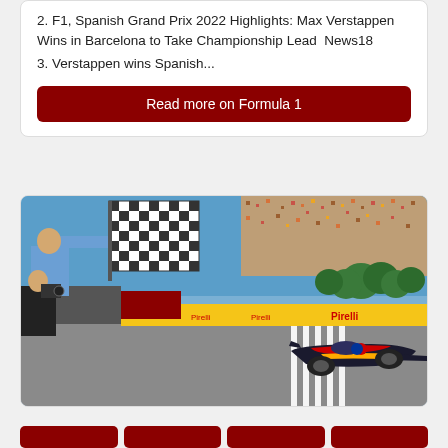2. F1, Spanish Grand Prix 2022 Highlights: Max Verstappen Wins in Barcelona to Take Championship Lead  News18
3. Verstappen wins Spanish...
Read more on Formula 1
[Figure (photo): F1 race at Spanish Grand Prix 2022: person waving checkered flag on left, Red Bull Formula 1 car crossing finish line on track, Pirelli branded barriers visible, spectators in stands in background under clear blue sky.]